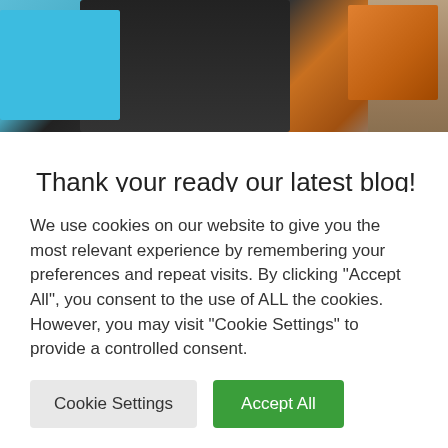[Figure (photo): Partial photo showing a cyan/blue card or booklet on the left, a dark grey ribbed device (laptop or keyboard) in the center, and an orange textured object on the right, against a warm brown background.]
Thank your ready our latest blog! If you need help boosting your brand awareness in 2022, De-Signs is here to help. Please don’t hesitate to get in touch with our friendly design team on 01423 873 555, they can help you create eye-catching, on-
We use cookies on our website to give you the most relevant experience by remembering your preferences and repeat visits. By clicking “Accept All”, you consent to the use of ALL the cookies. However, you may visit "Cookie Settings" to provide a controlled consent.